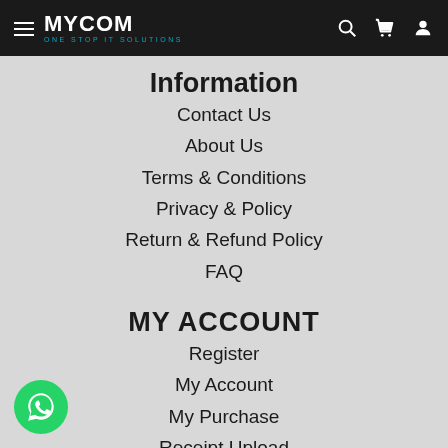MYCOM ONE STOP IT SOLUTIONS
Information
Contact Us
About Us
Terms & Conditions
Privacy & Policy
Return & Refund Policy
FAQ
MY ACCOUNT
Register
My Account
My Purchase
Receipt Upload
Wishlist
[Figure (logo): WhatsApp button (green circle with phone icon) in bottom-left corner]